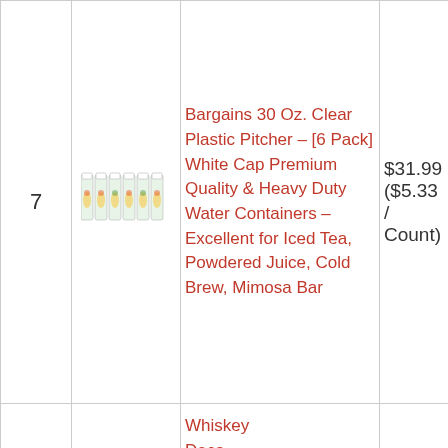| # | Image | Product Name | Price | Action |
| --- | --- | --- | --- | --- |
| 7 | [pitcher image] | Bargains 30 Oz. Clear Plastic Pitcher – [6 Pack] White Cap Premium Quality & Heavy Duty Water Containers – Excellent for Iced Tea, Powdered Juice, Cold Brew, Mimosa Bar | $31.99 ($5.33 / Count) | Buy on Amazon |
|  |  | Whiskey Decanter... |  |  |